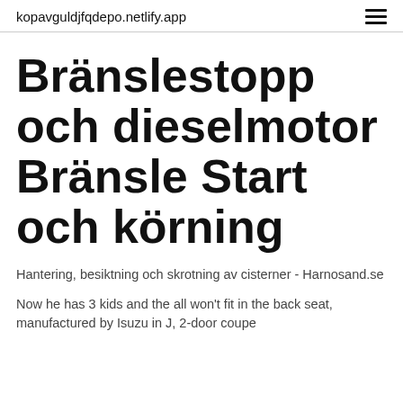kopavguldjfqdepo.netlify.app
Bränslestopp och dieselmotor Bränsle Start och körning
Hantering, besiktning och skrotning av cisterner - Harnosand.se
Now he has 3 kids and the all won't fit in the back seat, manufactured by Isuzu in J, 2-door coupe